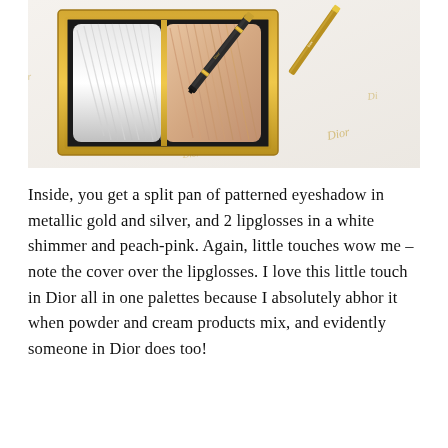[Figure (photo): Close-up photo of a Dior makeup palette with gold trim, showing a split pan of metallic gold and silver patterned eyeshadow, alongside a black Dior kohl pencil with gold accents, all resting on white tissue paper printed with 'Dior' in gold lettering.]
Inside, you get a split pan of patterned eyeshadow in metallic gold and silver, and 2 lipglosses in a white shimmer and peach-pink. Again, little touches wow me – note the cover over the lipglosses. I love this little touch in Dior all in one palettes because I absolutely abhor it when powder and cream products mix, and evidently someone in Dior does too!